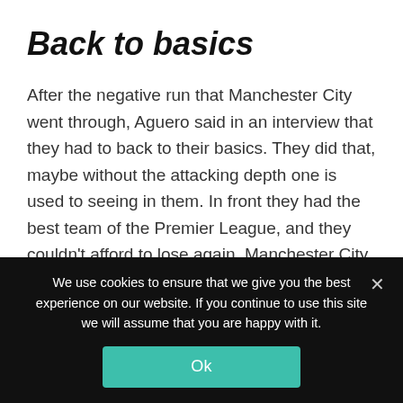Back to basics
After the negative run that Manchester City went through, Aguero said in an interview that they had to back to their basics. They did that, maybe without the attacking depth one is used to seeing in them. In front they had the best team of the Premier League, and they couldn't afford to lose again. Manchester City played a smart game and earned three points that put them back in the race.
We use cookies to ensure that we give you the best experience on our website. If you continue to use this site we will assume that you are happy with it.